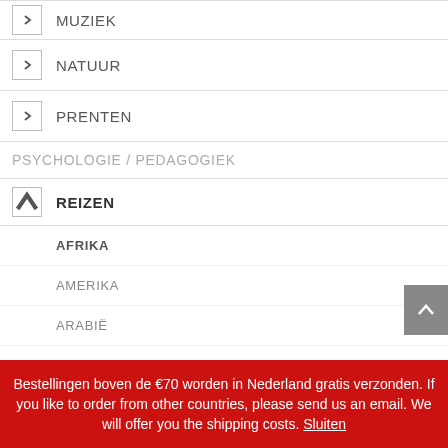MUZIEK
NATUUR
PRENTEN
PSYCHOLOGIE / PEDAGOGIEK
REIZEN
AFRIKA
AMERIKA
ARABIË
AZIE
Bestellingen boven de €70 worden in Nederland gratis verzonden. If you like to order from other countries, please send us an email. We will offer you the shipping costs. Sluiten